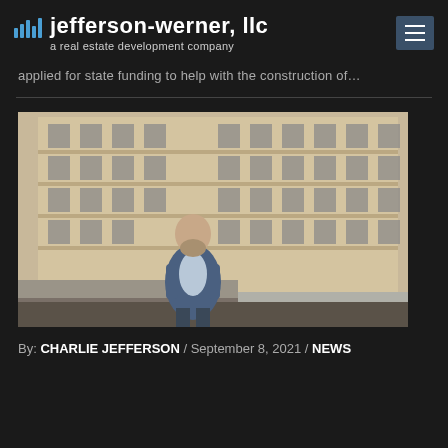jefferson-werner, llc — a real estate development company
applied for state funding to help with the construction of…
[Figure (photo): A bald man with a beard wearing a blue blazer stands in front of a multi-story stone building with many windows, photographed outdoors.]
By: CHARLIE JEFFERSON / September 8, 2021 / NEWS